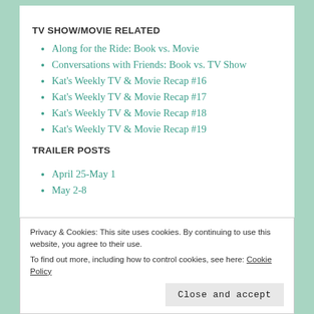TV SHOW/MOVIE RELATED
Along for the Ride: Book vs. Movie
Conversations with Friends: Book vs. TV Show
Kat's Weekly TV & Movie Recap #16
Kat's Weekly TV & Movie Recap #17
Kat's Weekly TV & Movie Recap #18
Kat's Weekly TV & Movie Recap #19
TRAILER POSTS
April 25-May 1
May 2-8
Privacy & Cookies: This site uses cookies. By continuing to use this website, you agree to their use.
To find out more, including how to control cookies, see here: Cookie Policy